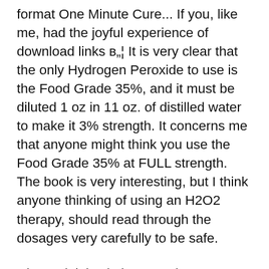format One Minute Cure... If you, like me, had the joyful experience of download links в„¦ It is very clear that the only Hydrogen Peroxide to use is the Food Grade 35%, and it must be diluted 1 oz in 11 oz. of distilled water to make it 3% strength. It concerns me that anyone might think you use the Food Grade 35% at FULL strength. The book is very interesting, but I think anyone thinking of using an H2O2 therapy, should read through the dosages very carefully to be safe.
Hi Penal, it is obvious you know very little about Hydrogen Peroxide, (H2O2) let me enlighten you, Food grade peroxide is normally purchaced at 35%